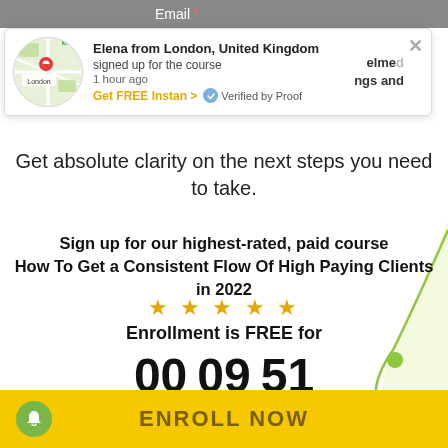Email *
[Figure (infographic): Social proof notification popup showing a map of London with a red pin, text 'Elena from London, United Kingdom signed up for the course 1 hour ago', a 'Get FREE Instan >' CTA in orange, 'Verified by Proof' badge, and partially visible text 'elmed ngs and' with an X close button]
Get absolute clarity on the next steps you need to take.
Sign up for our highest-rated, paid course How To Get a Consistent Flow Of High Paying Clients in 2022
[Figure (infographic): Five gold star rating icons]
Enrollment is FREE for
00 Hours 09 Minutes 51 Seconds
ENROLL NOW